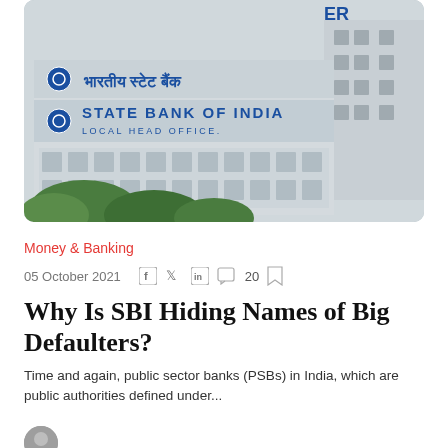[Figure (photo): State Bank of India building with signage in Hindi (भारतीय स्टेट बैंक) and English (STATE BANK OF INDIA LOCAL HEAD OFFICE), white modernist architecture with trees in foreground]
Money & Banking
05 October 2021   20
Why Is SBI Hiding Names of Big Defaulters?
Time and again, public sector banks (PSBs) in India, which are public authorities defined under...